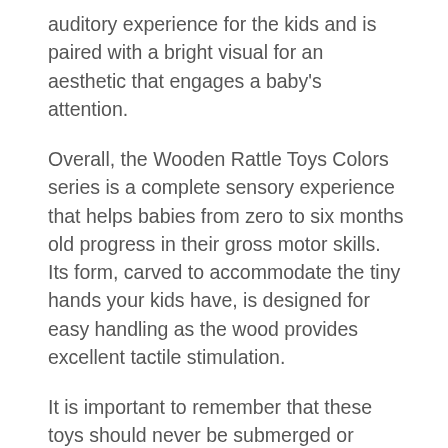auditory experience for the kids and is paired with a bright visual for an aesthetic that engages a baby's attention.
Overall, the Wooden Rattle Toys Colors series is a complete sensory experience that helps babies from zero to six months old progress in their gross motor skills. Its form, carved to accommodate the tiny hands your kids have, is designed for easy handling as the wood provides excellent tactile stimulation.
It is important to remember that these toys should never be submerged or rinsed in water as it will raise the grain of the would that would cause the product to become rough. Doing so will also remove the important water-